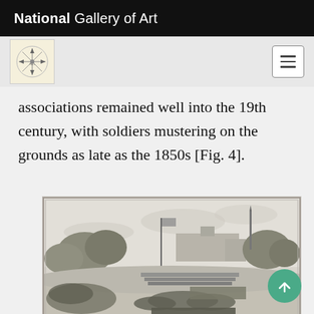National Gallery of Art
associations remained well into the 19th century, with soldiers mustering on the grounds as late as the 1850s [Fig. 4].
[Figure (photo): Historical lithograph or engraving showing soldiers mustering on grounds, with trees, a flagpole, buildings in the background, and formations of troops on horseback and foot in the foreground.]